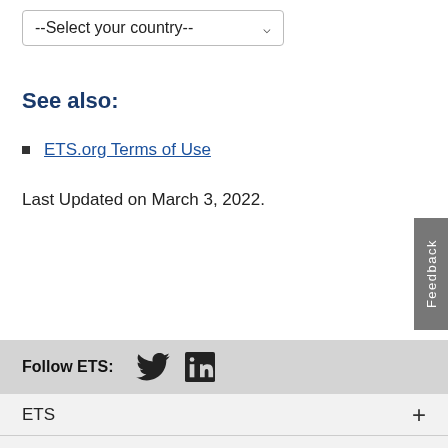--Select your country--
See also:
ETS.org Terms of Use
Last Updated on March 3, 2022.
Follow ETS:
ETS
Solutions